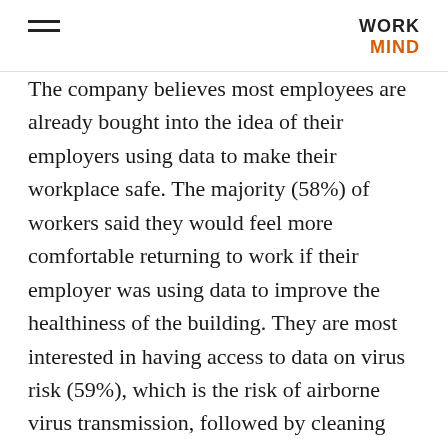WORK MIND
The company believes most employees are already bought into the idea of their employers using data to make their workplace safe. The majority (58%) of workers said they would feel more comfortable returning to work if their employer was using data to improve the healthiness of the building. They are most interested in having access to data on virus risk (59%), which is the risk of airborne virus transmission, followed by cleaning information (57%) and data on air quality (54%). The challenge for companies has been in the ability to collect and measure this data.